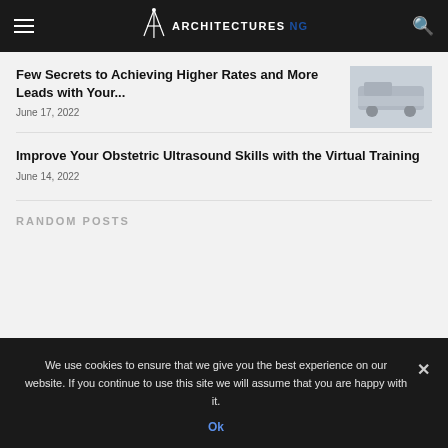ArchitecturesNG
Few Secrets to Achieving Higher Rates and More Leads with Your...
June 17, 2022
[Figure (photo): Thumbnail image of a car or vehicle in a light grey/blue toned photo]
Improve Your Obstetric Ultrasound Skills with the Virtual Training
June 14, 2022
RANDOM POSTS
We use cookies to ensure that we give you the best experience on our website. If you continue to use this site we will assume that you are happy with it.
Ok